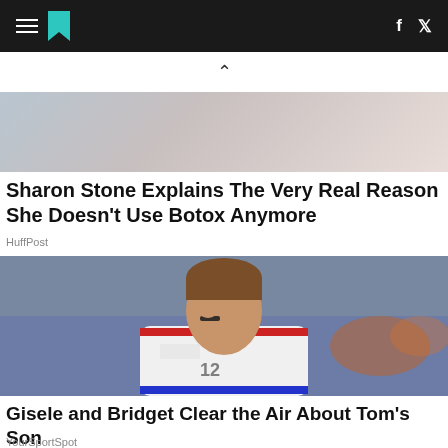HuffPost navigation bar with logo, hamburger menu, Facebook and Twitter icons
[Figure (photo): Partial photo of a person, cropped at top (Sharon Stone article image)]
Sharon Stone Explains The Very Real Reason She Doesn't Use Botox Anymore
HuffPost
[Figure (photo): Photo of Tom Brady in New England Patriots white jersey with eye black, looking upward, crowd in background]
Gisele and Bridget Clear the Air About Tom's Son
YourSportSpot